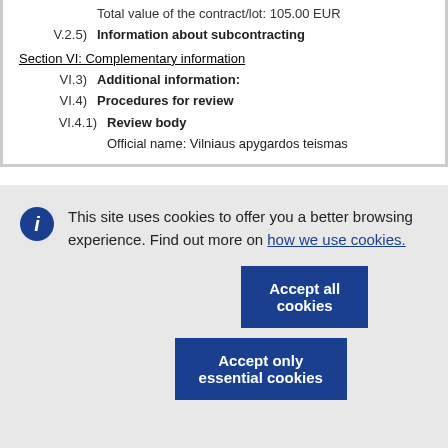Total value of the contract/lot: 105.00 EUR
V.2.5) Information about subcontracting
Section VI: Complementary information
VI.3) Additional information:
VI.4) Procedures for review
VI.4.1) Review body
Official name: Vilniaus apygardos teismas
This site uses cookies to offer you a better browsing experience. Find out more on how we use cookies.
Accept all cookies
Accept only essential cookies